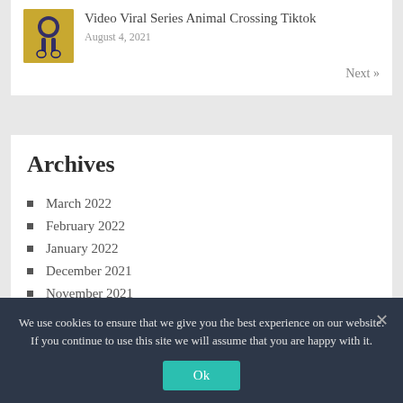Video Viral Series Animal Crossing Tiktok
August 4, 2021
Next »
Archives
March 2022
February 2022
January 2022
December 2021
November 2021
We use cookies to ensure that we give you the best experience on our website. If you continue to use this site we will assume that you are happy with it.
Ok